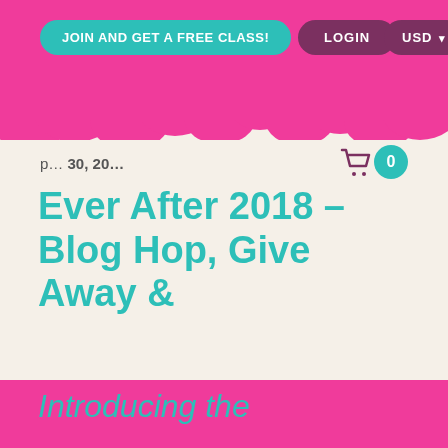JOIN AND GET A FREE CLASS! | LOGIN | USD
p...30, 20...
Ever After 2018 – Blog Hop, Give Away &
Introducing the Teacher Team – Yippee!
This website uses cookies to improve your experience. By using this site you agree to the use of cookies, our policies, copyright terms and other conditions. Click here to read our privacy policy
Decline | Accept
Away Tiiiiime! :) Weeeee! :)